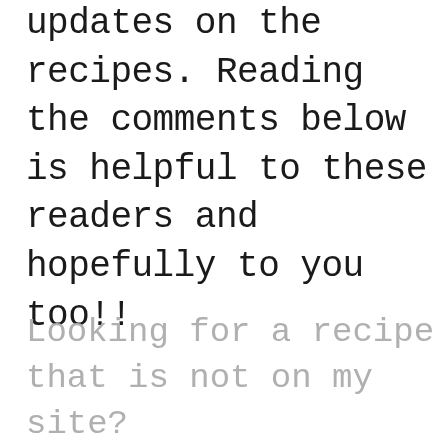updates on the recipes. Reading the comments below is helpful to these readers and hopefully to you too!!
Looking for a recipe that is not on my site?